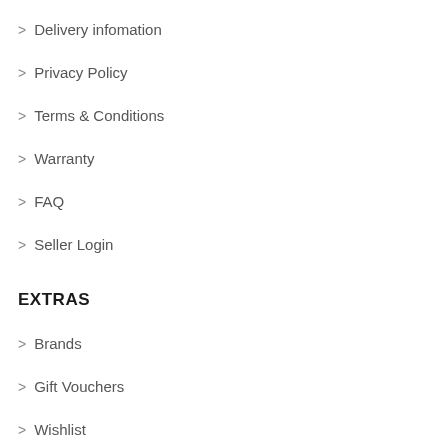> Delivery infomation
> Privacy Policy
> Terms & Conditions
> Warranty
> FAQ
> Seller Login
EXTRAS
> Brands
> Gift Vouchers
> Wishlist
> Affiliates